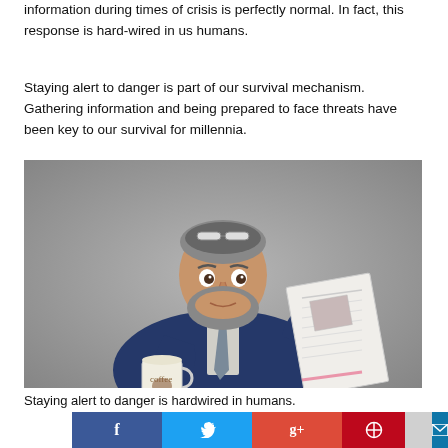information during times of crisis is perfectly normal. In fact, this response is hard-wired in us humans.
Staying alert to danger is part of our survival mechanism. Gathering information and being prepared to face threats have been key to our survival for millennia.
[Figure (photo): A middle-aged bearded man in a blue suit with glasses on his head, holding a coffee mug in one hand and reading a newspaper with an alarmed expression.]
Staying alert to danger is hardwired in humans.
[Figure (infographic): Social media sharing bar with Facebook, Twitter, Google+, Pinterest, LinkedIn, and email buttons.]